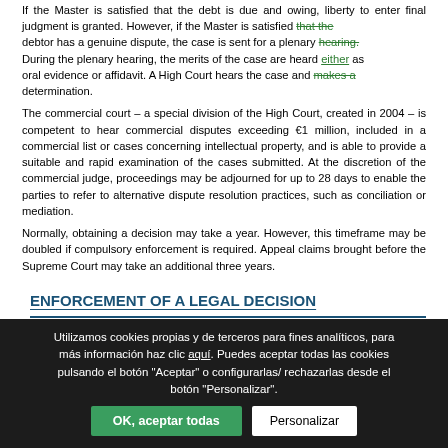If the Master is satisfied that the debt is due and owing, liberty to enter final judgment is granted. However, if the Master is satisfied that the debtor has a genuine dispute, the case is sent for a plenary hearing. During the plenary hearing, the merits of the case are heard either as oral evidence or affidavit. A High Court hears the case and makes a determination.
The commercial court – a special division of the High Court, created in 2004 – is competent to hear commercial disputes exceeding €1 million, included in a commercial list or cases concerning intellectual property, and is able to provide a suitable and rapid examination of the cases submitted. At the discretion of the commercial judge, proceedings may be adjourned for up to 28 days to enable the parties to refer to alternative dispute resolution practices, such as conciliation or mediation.
Normally, obtaining a decision may take a year. However, this timeframe may be doubled if compulsory enforcement is required. Appeal claims brought before the Supreme Court may take an additional three years.
ENFORCEMENT OF A LEGAL DECISION
Utilizamos cookies propias y de terceros para fines analíticos, para más información haz clic aquí. Puedes aceptar todas las cookies pulsando el botón "Aceptar" o configurarlas/ rechazarlas desde el botón "Personalizar".